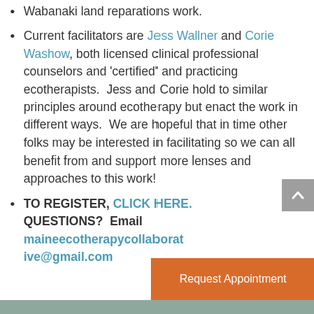Wabanaki land reparations work.
Current facilitators are Jess Wallner and Corie Washow, both licensed clinical professional counselors and 'certified' and practicing ecotherapists.  Jess and Corie hold to similar principles around ecotherapy but enact the work in different ways.  We are hopeful that in time other folks may be interested in facilitating so we can all benefit from and support more lenses and approaches to this work!
TO REGISTER, CLICK HERE. QUESTIONS?  Email maineecotherapycollaborative@gmail.com